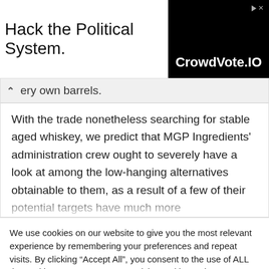[Figure (other): Advertisement banner: 'Hack the Political System.' text on left, CrowdVote.IO logo in black box on right with play icon]
ery own barrels.
With the trade nonetheless searching for stable aged whiskey, we predict that MGP Ingredients' administration crew ought to severely have a look at among the low-hanging alternatives obtainable to them, as a result of a few of their potential targets have much more
We use cookies on our website to give you the most relevant experience by remembering your preferences and repeat visits. By clicking "Accept All", you consent to the use of ALL the cookies. However, you may visit "Cookie Settings" to provide a controlled consent.
Cookie Settings | Accept All